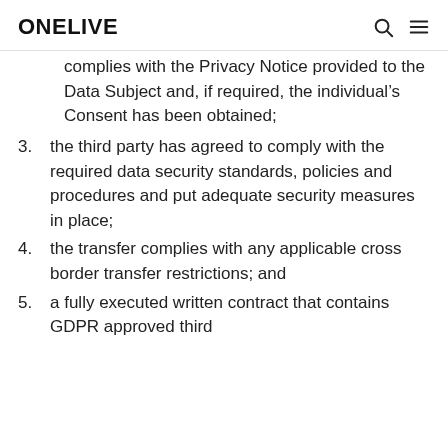ONELIVE
complies with the Privacy Notice provided to the Data Subject and, if required, the individual's Consent has been obtained;
3. the third party has agreed to comply with the required data security standards, policies and procedures and put adequate security measures in place;
4. the transfer complies with any applicable cross border transfer restrictions; and
5. a fully executed written contract that contains GDPR approved third